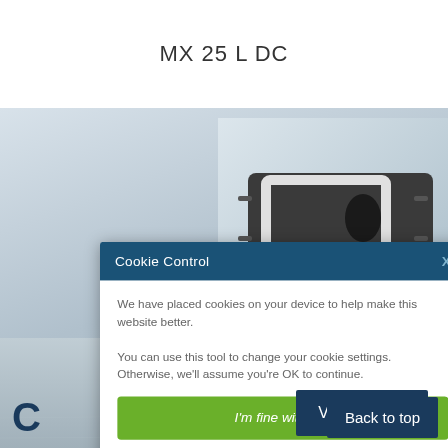MX 25 L DC
[Figure (photo): Product photo of MX 25 L DC motor/actuator device shown against a background of water/lake scenery. A dark rectangular device with silver/white bracket is visible in the upper right area.]
Cookie Control
We have placed cookies on your device to help make this website better.

You can use this tool to change your cookie settings. Otherwise, we'll assume you're OK to continue.
I'm fine with this
Information and Settings
About our cookies
View Details
Back to top